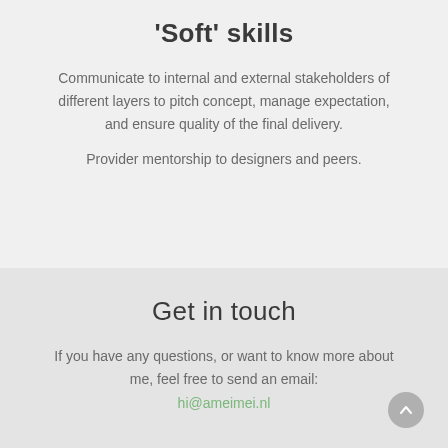'Soft' skills
Communicate to internal and external stakeholders of different layers to pitch concept, manage expectation, and ensure quality of the final delivery.
Provider mentorship to designers and peers.
Get in touch
If you have any questions, or want to know more about me, feel free to send an email:
hi@ameimei.nl